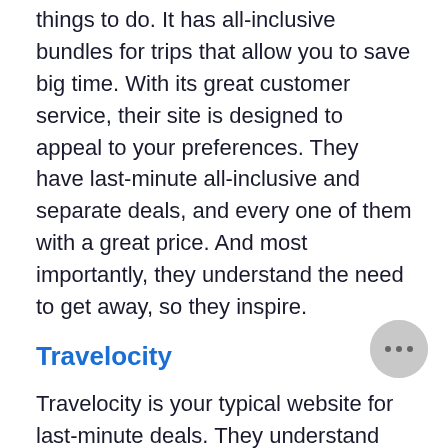things to do. It has all-inclusive bundles for trips that allow you to save big time. With its great customer service, their site is designed to appeal to your preferences. They have last-minute all-inclusive and separate deals, and every one of them with a great price. And most importantly, they understand the need to get away, so they inspire.
Travelocity
Travelocity is your typical website for last-minute deals. They understand the magic of unexpected getaways, the joy they can bring. This website has deals for planned trips and things to do, along with hotels, flights, cruises, cars, vacation packages, and more. They also have great discounts on all the hotels with easily accessible promo codes. There's always